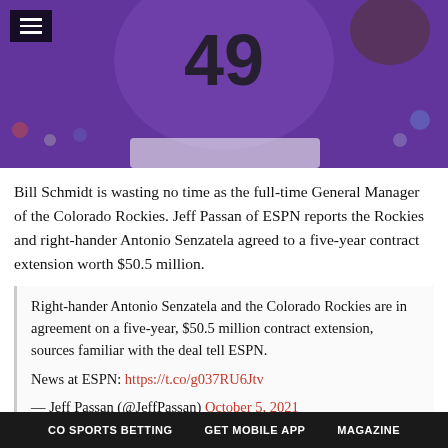[Figure (photo): Baseball player wearing Colorado Rockies purple jersey number 49, pitching, with glove visible]
Bill Schmidt is wasting no time as the full-time General Manager of the Colorado Rockies. Jeff Passan of ESPN reports the Rockies and right-hander Antonio Senzatela agreed to a five-year contract extension worth $50.5 million.
Right-hander Antonio Senzatela and the Colorado Rockies are in agreement on a five-year, $50.5 million contract extension, sources familiar with the deal tell ESPN.

News at ESPN: https://t.co/g037RU6Jtv

— Jeff Passan (@JeffPassan) October 5, 2021
Just minutes after the Senzatela news was made public, Jon Heyman reports the Rockies have also agreed to terms with
CO SPORTS BETTING   GET MOBILE APP   MAGAZINE